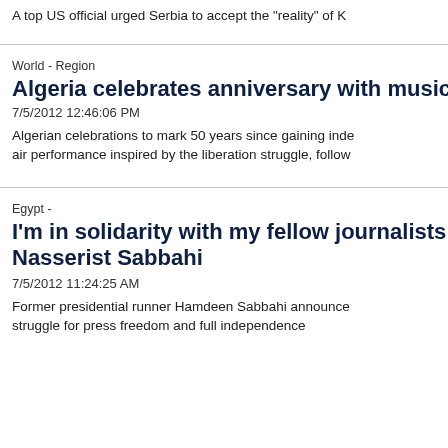A top US official urged Serbia to accept the "reality" of K
World - Region
Algeria celebrates anniversary with music
7/5/2012 12:46:06 PM
Algerian celebrations to mark 50 years since gaining inde air performance inspired by the liberation struggle, follow
Egypt -
I'm in solidarity with my fellow journalists Nasserist Sabbahi
7/5/2012 11:24:25 AM
Former presidential runner Hamdeen Sabbahi announce struggle for press freedom and full independence